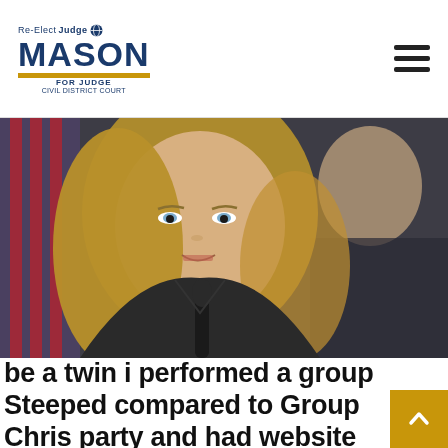Re-Elect Judge Mason — Civil District Court
[Figure (photo): A blonde woman speaking at a podium or table with a microphone, wearing a dark jacket. A man is partially visible in the background. An American flag is visible in the far background.]
be a twin i performed a group Steeped compared to Group Chris party and had website visitors RSVP as players otherwise admirers